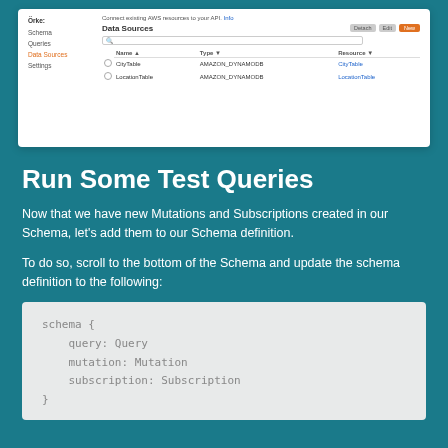[Figure (screenshot): AWS AppSync console screenshot showing Data Sources panel with CityTable (AMAZON_DYNAMODB) and LocationTable (AMAZON_DYNAMODB) entries, navigation sidebar with Schema, Queries, Data Sources (active/orange), Settings links]
Run Some Test Queries
Now that we have new Mutations and Subscriptions created in our Schema, let’s add them to our Schema definition.
To do so, scroll to the bottom of the Schema and update the schema definition to the following: